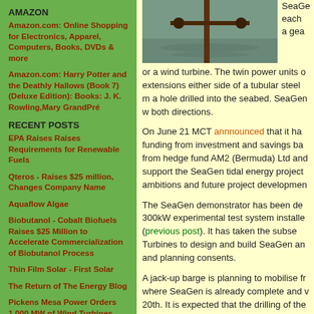[Figure (photo): Photograph of SeaGen tidal energy device in water, showing turbine structure]
SeaGen each a gea or a wind turbine. The twin power units o extensions either side of a tubular steel m a hole drilled into the seabed. SeaGen w both directions.
AMAZON
Amazon.com: Online Shopping for Electronics, Apparel, Computers, Books, DVDs & more
Amazon.com: Harry Potter and the Deathly Hallows (Book 7) (Deluxe Edition): Books: J. K. Rowling,Mary GrandPré
RECENT POSTS
EPA Raises Raises Requirements for Renewable Fuels
Qteros - Raises $25 million, Changes Company Name
Aquaflow Algae
Biobutanol - Cobalt Biofuels Raises $25 Million to Accelerate Commercialization of Biobutanol Process
Thin Film Solar - First Solar
The Return of The Energy Blog
Pickens Mesa Power Orders 1,000 MW of Wind Turbines
Worlds Largest, $1.8 Billion, 500 MW, Wind Farm to be Built off the Coast of UK
DuPont To Enter Thin Film Amorphous Silicon Market
On June 21 MCT annnounced that it ha funding from investment and savings ba from hedge fund AM2 (Bermuda) Ltd and support the SeaGen tidal energy project ambitions and future project developmen
The SeaGen demonstrator has been de 300kW experimental test system installe (previous post). It has taken the subse Turbines to design and build SeaGen an and planning consents.
A jack-up barge is planning to mobilise fr where SeaGen is already complete and 20th. It is expected that the drilling of the installation of the twin-turbine device will power generation to the local grid short